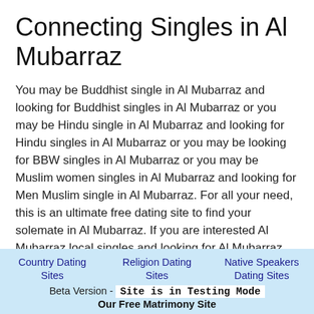Connecting Singles in Al Mubarraz
You may be Buddhist single in Al Mubarraz and looking for Buddhist singles in Al Mubarraz or you may be Hindu single in Al Mubarraz and looking for Hindu singles in Al Mubarraz or you may be looking for BBW singles in Al Mubarraz or you may be Muslim women singles in Al Mubarraz and looking for Men Muslim single in Al Mubarraz. For all your need, this is an ultimate free dating site to find your solemate in Al Mubarraz. If you are interested Al Mubarraz local singles and looking for Al Mubarraz local singles then this is the right site for you. All you have to do is just Signup and start searching thousands of Al Mubarraz singles for dating.
Other Popular Counties
Country Dating Sites
Religion Dating Sites
Native Speakers Dating Sites
Beta Version - Site is in Testing Mode
Our Free Matrimony Site